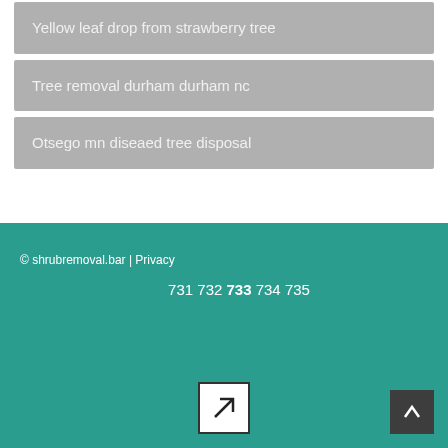Yellow leaf drop from strawberry tree
Tree removal durham durham nc
Otsego mn diseaed tree disposal
© shrubremoval.bar | Privacy
731 732 733 734 735